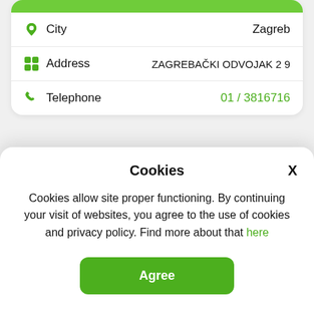| Field | Value |
| --- | --- |
| City | Zagreb |
| Address | ZAGREBAČKI ODVOJAK 2 9 |
| Telephone | 01 / 3816716 |
Cookies
Cookies allow site proper functioning. By continuing your visit of websites, you agree to the use of cookies and privacy policy. Find more about that here
Agree